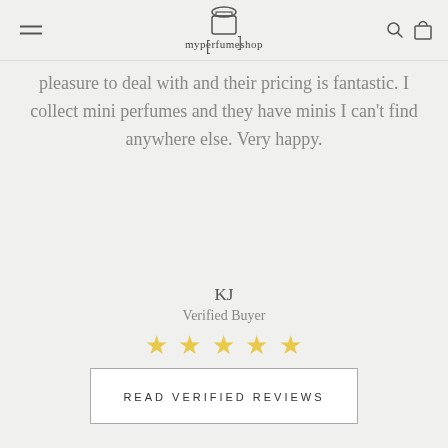myperfumeshop
pleasure to deal with and their pricing is fantastic. I collect mini perfumes and they have minis I can't find anywhere else. Very happy.
KJ
Verified Buyer
[Figure (other): Five gold/yellow star rating icons]
[Figure (other): Carousel pagination dots — 6 dots, first one filled black, rest are empty circles]
READ VERIFIED REVIEWS